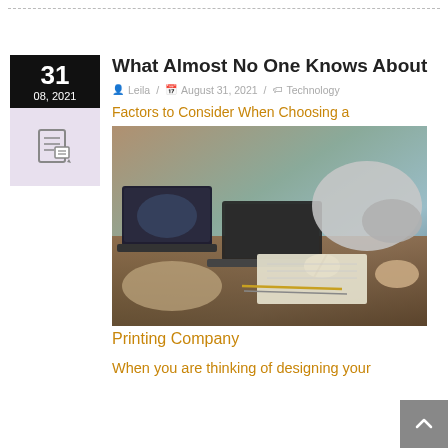What Almost No One Knows About
Leila / August 31, 2021 / Technology
Factors to Consider When Choosing a
[Figure (photo): Two people working at a desk with laptops, notebooks, and pens, viewed from above and behind.]
Printing Company
When you are thinking of designing your